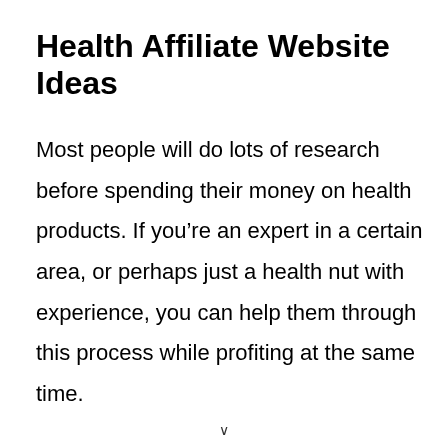Health Affiliate Website Ideas
Most people will do lots of research before spending their money on health products. If you’re an expert in a certain area, or perhaps just a health nut with experience, you can help them through this process while profiting at the same time.
∨